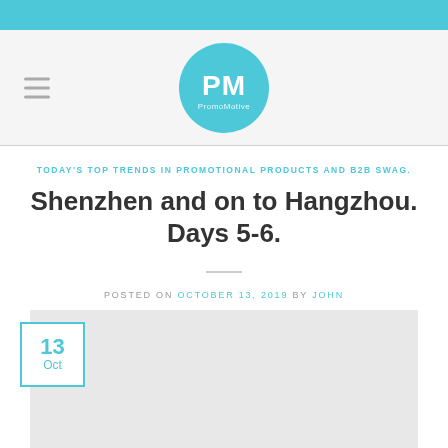[Figure (logo): PromoMotive logo — teal circle with PM initials and 'PromoMotive' text]
TODAY'S TOP TRENDS IN PROMOTIONAL PRODUCTS AND B2B SWAG.
Shenzhen and on to Hangzhou. Days 5-6.
POSTED ON OCTOBER 13, 2019 BY JOHN
[Figure (other): Grey image placeholder with teal-outlined date badge showing 13 Oct]